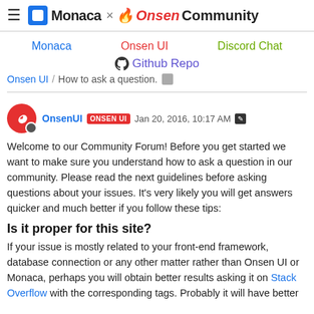≡  Monaca × Onsen Community
Monaca   Onsen UI   Discord Chat
Github Repo
Onsen UI / How to ask a question.
OnsenUI  ONSEN UI  Jan 20, 2016, 10:17 AM
Welcome to our Community Forum! Before you get started we want to make sure you understand how to ask a question in our community. Please read the next guidelines before asking questions about your issues. It's very likely you will get answers quicker and much better if you follow these tips:
Is it proper for this site?
If your issue is mostly related to your front-end framework, database connection or any other matter rather than Onsen UI or Monaca, perhaps you will obtain better results asking it on Stack Overflow with the corresponding tags. Probably it will have better